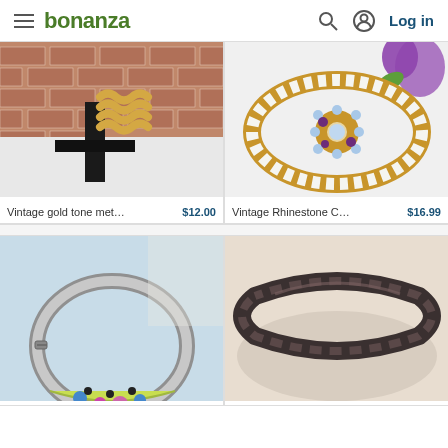bonanza — Log in
[Figure (photo): Vintage gold tone metal elastic bracelet on a black T-bar display stand with brick background]
Vintage gold tone metal ela... $12.00
[Figure (photo): Vintage Rhinestone Cuff Bracelet, gold filigree cuff with gemstone floral center on white background with purple flower]
Vintage Rhinestone Cuff Br... $16.99
[Figure (photo): Silver bangle bracelet with colorful enamel flower design on light blue background]
[Figure (photo): Dark twisted rope/metal bangle bracelet on cream pillow display]